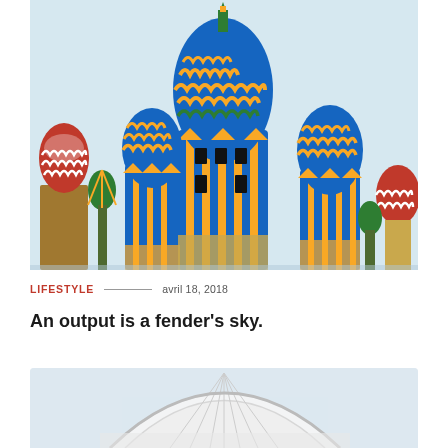[Figure (photo): Photo of St. Basil's Cathedral domes in Moscow against a light blue sky — colorful onion-shaped domes in red, green, blue, yellow stripes]
LIFESTYLE — avril 18, 2018
An output is a fender's sky.
[Figure (photo): Partial photo of a large modern stadium with white arched roof structure against a light sky]